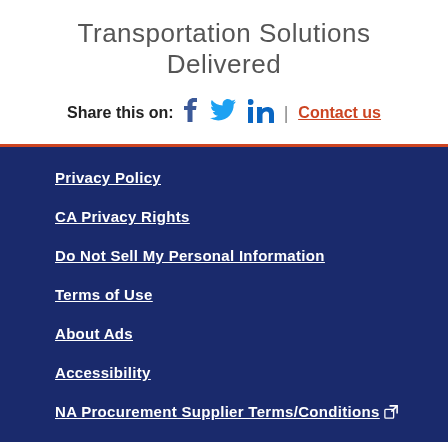Transportation Solutions Delivered
Share this on: [Facebook] [Twitter] [LinkedIn] | Contact us
Privacy Policy
CA Privacy Rights
Do Not Sell My Personal Information
Terms of Use
About Ads
Accessibility
NA Procurement Supplier Terms/Conditions [external link]